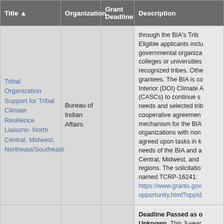| Title ▲ | Organization | Grant Deadline | Description |
| --- | --- | --- | --- |
| Tribal Organization Support for Tribal Climate Resilience Liaisons- North Central, Midwest, Northeast/Southeast | Bureau of Indian Affairs |  | through the BIA's Trib... Eligible applicants inclu... governmental organiza... colleges or universities... recognized tribes. Othe... grantees. The BIA is co... Interior (DOI) Climate A... (CASCs) to continue s... needs and selected trib... cooperative agreemen... mechanism for the BIA... organizations with non... agreed upon tasks in k... needs of the BIA and a... Central, Midwest, and ... regions. The solicitatio... named TCRP-16241: https://www.grants.gov... opportunity.html?oppId... |
|  |  |  | Deadline Passed as o... Unknown. This 3-year... |